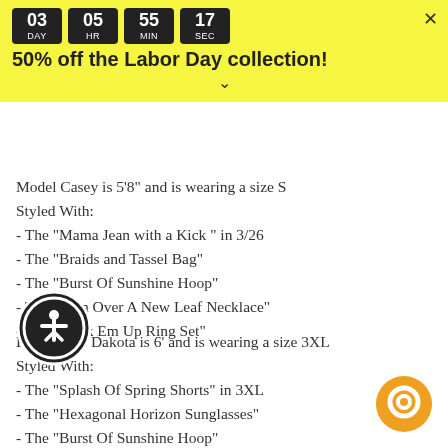L: Chest 39" Length 29"
1XL: Chest 47" Le...
2XL: Ch... Length 32"
3XL: Chest 49" Length 32"
[Figure (infographic): Yellow promotional banner with countdown timer showing 03 DAY 05 HR 55 MIN 17 SEC in dark flip-clock style blocks, text '50% off the Labor Day collection!' and a close X button]
Model Casey is 5'8" and is wearing a size S
Styled With:
- The "Mama Jean with a Kick " in 3/26
- The "Braids and Tassel Bag"
- The "Burst Of Sunshine Hoop"
- The "Turn Over A New Leaf Necklace"
- The "Stack Em Up Ring Set"
Plus Model Dakota is 6' and is wearing a size 3XL
Styled With:
- The "Splash Of Spring Shorts" in 3XL
- The "Hexagonal Horizon Sunglasses"
- The "Burst Of Sunshine Hoop"
- The "Garnet Nugget Necklace"